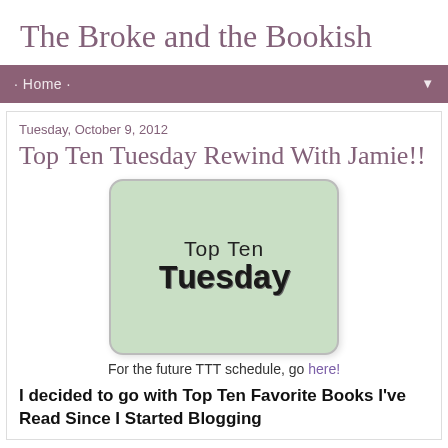The Broke and the Bookish
· Home ·
Tuesday, October 9, 2012
Top Ten Tuesday Rewind With Jamie!!
[Figure (illustration): Top Ten Tuesday logo: a green rounded rectangle with text 'Top Ten Tuesday' in bold serif/stamp font]
For the future TTT schedule, go here!
I decided to go with Top Ten Favorite Books I've Read Since I Started Blogging